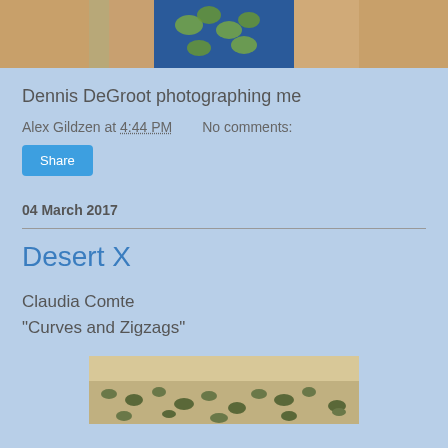[Figure (photo): Top portion of a photo showing people, one wearing a blue floral Hawaiian shirt]
Dennis DeGroot photographing me
Alex Gildzen at 4:44 PM    No comments:
Share
04 March 2017
Desert X
Claudia Comte
"Curves and Zigzags"
[Figure (photo): Aerial or wide-angle view of a desert landscape with scattered shrubs and sandy ground]